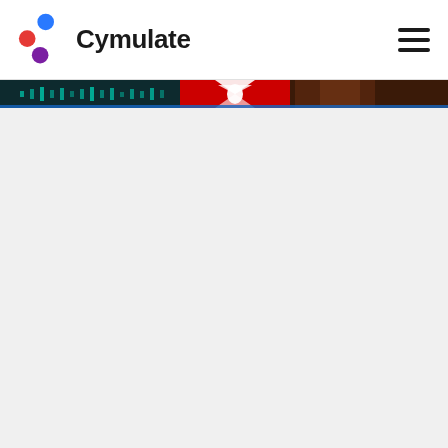[Figure (logo): Cymulate company logo with colored dots (blue top, red left, purple bottom) and the word Cymulate in dark text]
[Figure (photo): A horizontal banner image showing a dark teal background with light effects on the left, a bright red/white light burst in the center, and a dark brown/orange section on the right]